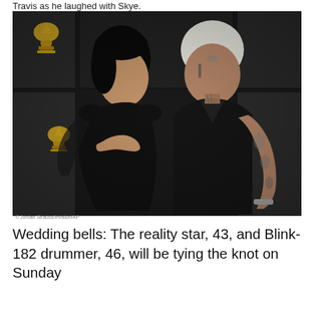Travis as he laughed with Skye.
[Figure (photo): A man and woman posing together at a Grammy Awards event. The woman (Kourtney Kardashian) is wearing a black cutout dress with long sheer sleeves. The man (Travis Barker) is wearing a black suit and has visible face and arm tattoos and bleached hair. Grammy trophies are visible in the background.]
© Jordan Strauss/Invision/AP
Wedding bells: The reality star, 43, and Blink-182 drummer, 46, will be tying the knot on Sunday